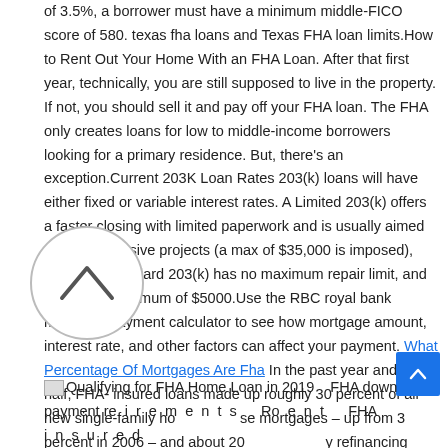of 3.5%, a borrower must have a minimum middle-FICO score of 580. texas fha loans and Texas FHA loan limits.How to Rent Out Your Home With an FHA Loan. After that first year, technically, you are still supposed to live in the property. If not, you should sell it and pay off your FHA loan. The FHA only creates loans for low to middle-income borrowers looking for a primary residence. But, there's an exception.Current 203K Loan Rates 203(k) loans will have either fixed or variable interest rates. A Limited 203(k) offers a faster closing with limited paperwork and is usually aimed at less expensive projects (a max of $35,000 is imposed), while the Standard 203(k) has no maximum repair limit, and requires a minimum of $5000.Use the RBC royal bank mortgage payment calculator to see how mortgage amount, interest rate, and other factors can affect your payment. What Percentage Of Mortgages Are Fha In the past year and a half, FHA-insured loans made up roughly 30 percent of all new single-family home purchase mortgages – up from 3 percent in 2006 – and about 20 [percent of] refinancing deals..
Qualifying for FHA Home Loan in 2019    FHA down payment requirements...